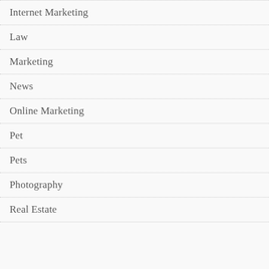Internet Marketing
Law
Marketing
News
Online Marketing
Pet
Pets
Photography
Real Estate